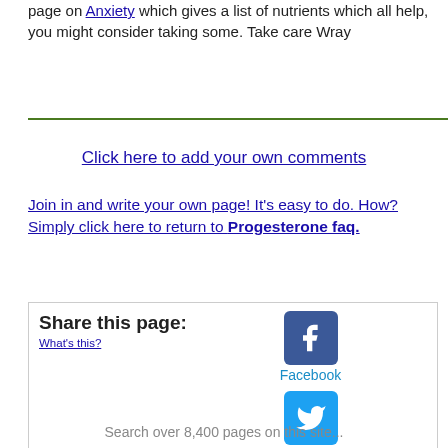page on Anxiety which gives a list of nutrients which all help, you might consider taking some. Take care Wray
Click here to add your own comments
Join in and write your own page! It's easy to do. How? Simply click here to return to Progesterone faq.
Share this page: What's this?
[Figure (logo): Facebook icon - blue rounded square with white f]
Facebook
[Figure (logo): Twitter icon - cyan rounded square with white bird]
Twitter
Find this page helpful? Please tell others. Here's how...
Search over 8,400 pages on this site...